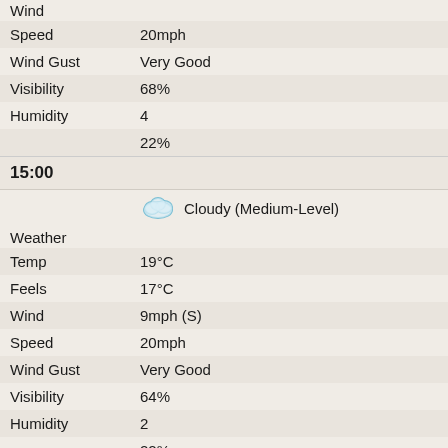| Field | Value |
| --- | --- |
| Wind |  |
| Speed | 20mph |
| Wind Gust | Very Good |
| Visibility | 68% |
| Humidity | 4 |
|  | 22% |
15:00
| Field | Value |
| --- | --- |
| Weather | Cloudy (Medium-Level) |
| Temp | 19°C |
| Feels | 17°C |
| Wind | 9mph (S) |
| Speed | 20mph |
| Wind Gust | Very Good |
| Visibility | 64% |
| Humidity | 2 |
|  | 22% |
18:00
| Field | Value |
| --- | --- |
| Weather | Cloudy (Medium-Level) |
| Temp | 17°C |
| Feels | 16°C |
| Wind | 9mph (S) |
| Speed | 16mph |
| Wind Gust | Very Good |
| Visibility | 72% |
| Humidity | 1 |